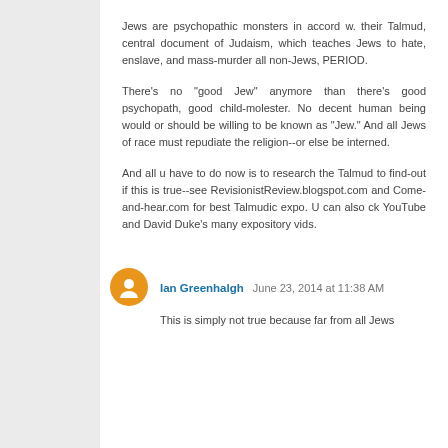Jews are psychopathic monsters in accord w. their Talmud, central document of Judaism, which teaches Jews to hate, enslave, and mass-murder all non-Jews, PERIOD.
There's no "good Jew" anymore than there's good psychopath, good child-molester. No decent human being would or should be willing to be known as "Jew." And all Jews of race must repudiate the religion--or else be interned.
And all u have to do now is to research the Talmud to find-out if this is true--see RevisionistReview.blogspot.com and Come-and-hear.com for best Talmudic expo. U can also ck YouTube and David Duke's many expository vids.
Ian Greenhalgh  June 23, 2014 at 11:38 AM
This is simply not true because far from all Jews...